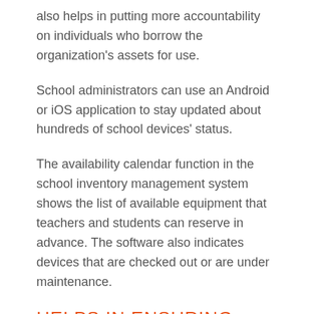also helps in putting more accountability on individuals who borrow the organization's assets for use.
School administrators can use an Android or iOS application to stay updated about hundreds of school devices' status.
The availability calendar function in the school inventory management system shows the list of available equipment that teachers and students can reserve in advance. The software also indicates devices that are checked out or are under maintenance.
HELPS IN ENSURING TRANSPARENT RECORDKEEPING